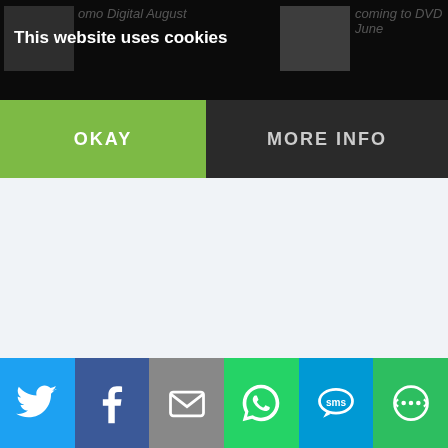[Figure (screenshot): Website background showing thumbnails and article titles partially visible behind cookie consent overlay]
This website uses cookies
OKAY
MORE INFO
[Figure (infographic): Social share bar with Twitter, Facebook, Email, WhatsApp, SMS, and More buttons]